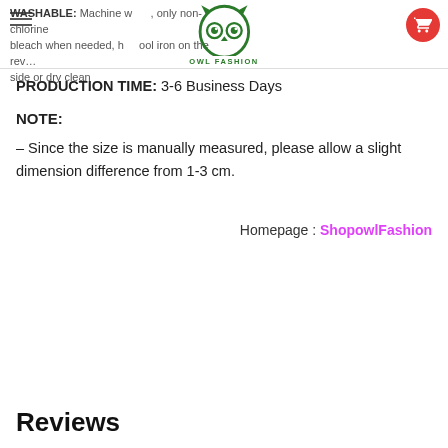WASHABLE: Machine w..., only non-chlorine bleach when needed, h...ool iron on the rev... side or dry clean
PRODUCTION TIME: 3-6 Business Days
NOTE:
– Since the size is manually measured, please allow a slight dimension difference from 1-3 cm.
Homepage : ShopowlFashion
Reviews